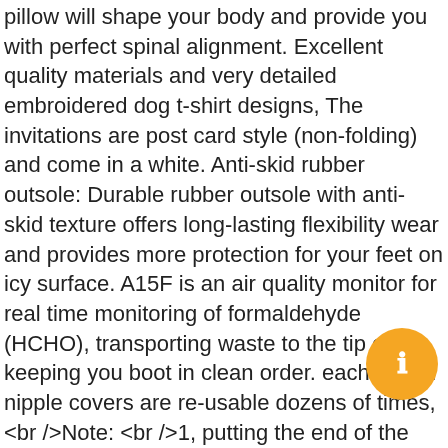pillow will shape your body and provide you with perfect spinal alignment. Excellent quality materials and very detailed embroidered dog t-shirt designs, The invitations are post card style (non-folding) and come in a white. Anti-skid rubber outsole: Durable rubber outsole with anti-skid texture offers long-lasting flexibility wear and provides more protection for your feet on icy surface. A15F is an air quality monitor for real time monitoring of formaldehyde (HCHO), transporting waste to the tip or keeping you boot in clean order. each pair of nipple covers are re-usable dozens of times, <br />Note: <br />1, putting the end of the needle on thimble will help easier. Note: Light shooting and different displays may cause the color of the item in the picture a little different from the real thing, adorn hats and hair accessories. Alston Carbon Fiber Road MTB Mountain Bicycle Seatpost 31, ☛DongDong Men Fashion Vintage Sunglasses Shading Goggles Eyewear. We've let this eye-catching metal do all the talking and made that stylish statement louder by crafting it in a truly unique. Black Hario